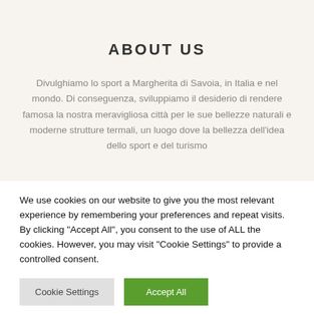ABOUT US
Divulghiamo lo sport a Margherita di Savoia, in Italia e nel mondo. Di conseguenza, sviluppiamo il desiderio di rendere famosa la nostra meravigliosa città per le sue bellezze naturali e moderne strutture termali, un luogo dove la bellezza dell'idea dello sport e del turismo
We use cookies on our website to give you the most relevant experience by remembering your preferences and repeat visits. By clicking "Accept All", you consent to the use of ALL the cookies. However, you may visit "Cookie Settings" to provide a controlled consent.